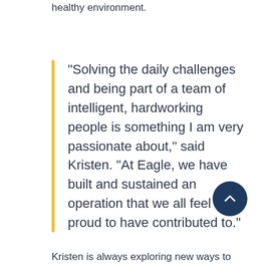done successfully while maintaining a healthy environment.
“Solving the daily challenges and being part of a team of intelligent, hardworking people is something I am very passionate about,” said Kristen. “At Eagle, we have built and sustained an operation that we all feel proud to have contributed to.”
Kristen is always exploring new ways to